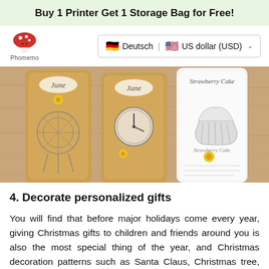Buy 1 Printer Get 1 Storage Bag for Free!
[Figure (logo): Phomemo brand logo: red mushroom icon above the text 'Phomemo']
Deutsch | US dollar (USD)
[Figure (photo): Three decorative bookmarks on a wooden table: left one is kraft paper with 'June' label and dream catcher illustration; middle one is kraft paper with 'June' label and clock/teapot illustration; right one is white paper with 'Strawberry Cake' label and cupcake illustration]
4. Decorate personalized gifts
You will find that before major holidays come every year, giving Christmas gifts to children and friends around you is also the most special thing of the year, and Christmas decoration patterns such as Santa Claus, Christmas tree, reindeer, gingerbread man and